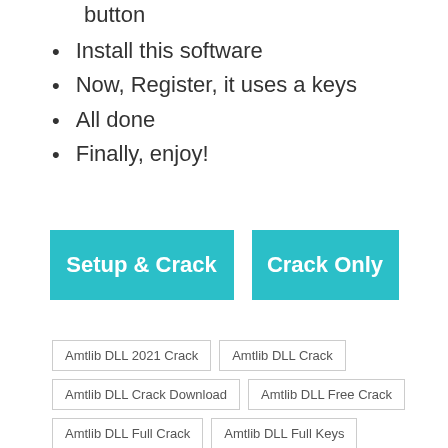button
Install this software
Now, Register, it uses a keys
All done
Finally, enjoy!
[Figure (other): Two teal/cyan buttons side by side: 'Setup & Crack' and 'Crack Only']
Amtlib DLL 2021 Crack
Amtlib DLL Crack
Amtlib DLL Crack Download
Amtlib DLL Free Crack
Amtlib DLL Full Crack
Amtlib DLL Full Keys
Amtlib DLL Key
Amtlib DLL Keygen